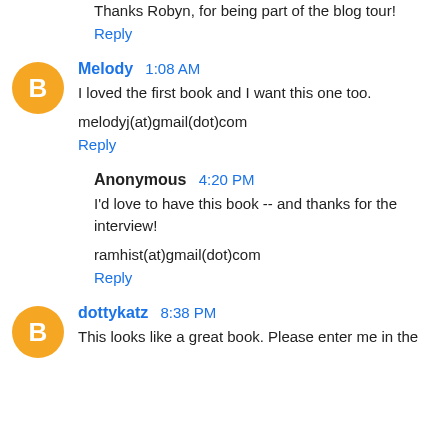Thanks Robyn, for being part of the blog tour!
Reply
Melody 1:08 AM
I loved the first book and I want this one too.
melodyj(at)gmail(dot)com
Reply
Anonymous 4:20 PM
I'd love to have this book -- and thanks for the interview!
ramhist(at)gmail(dot)com
Reply
dottykatz 8:38 PM
This looks like a great book. Please enter me in the